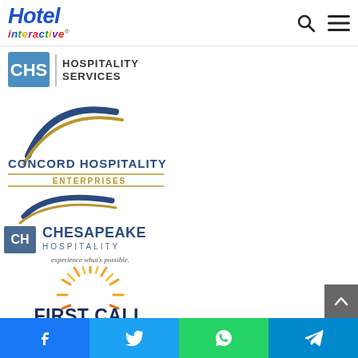Hotel interactive
[Figure (logo): CHS Hospitality Services logo]
[Figure (logo): Concord Hospitality Enterprises logo with arc graphic]
[Figure (logo): Chesapeake Hospitality logo - experience what's possible.]
[Figure (logo): First Call Hospitality logo with sunburst graphic]
[Figure (logo): Marshall Hotels & Resorts - Serving the Hospitality Industry Since 1980]
Facebook | Twitter | WhatsApp | Telegram